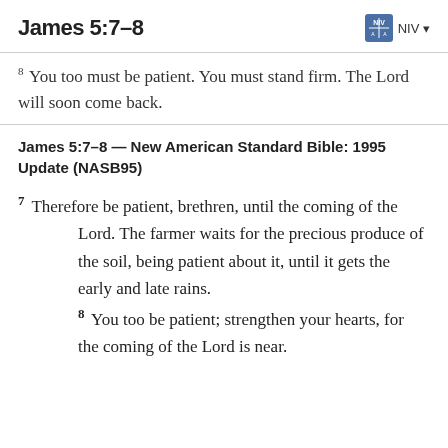James 5:7–8
8 You too must be patient. You must stand firm. The Lord will soon come back.
James 5:7–8 — New American Standard Bible: 1995 Update (NASB95)
7 Therefore be patient, brethren, until the coming of the Lord. The farmer waits for the precious produce of the soil, being patient about it, until it gets the early and late rains. 8 You too be patient; strengthen your hearts, for the coming of the Lord is near.